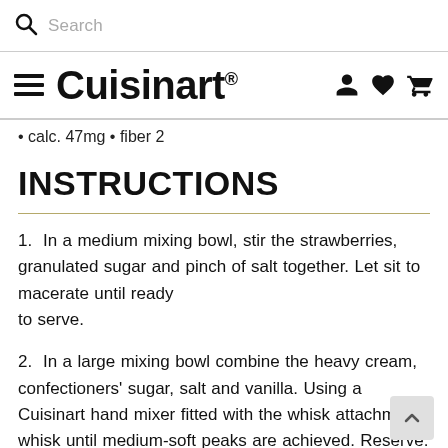Search
Cuisinart
• calc. 47mg • fiber 2
INSTRUCTIONS
1.  In a medium mixing bowl, stir the strawberries, granulated sugar and pinch of salt together. Let sit to macerate until ready to serve.
2.  In a large mixing bowl combine the heavy cream, confectioners' sugar, salt and vanilla. Using a Cuisinart hand mixer fitted with the whisk attachment, whisk until medium-soft peaks are achieved. Reserve.